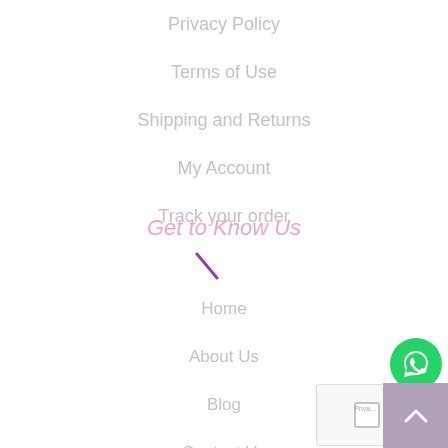Privacy Policy
Terms of Use
Shipping and Returns
My Account
Track your order
Get to Know Us
Home
About Us
Blog
Contact Us